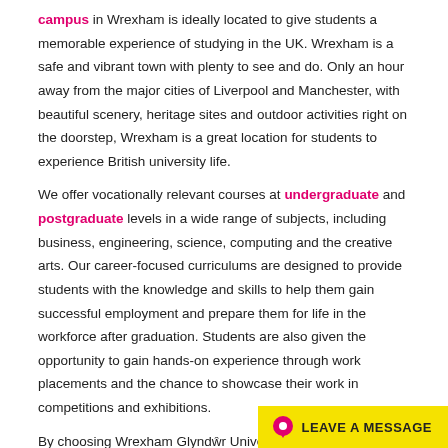campus in Wrexham is ideally located to give students a memorable experience of studying in the UK. Wrexham is a safe and vibrant town with plenty to see and do. Only an hour away from the major cities of Liverpool and Manchester, with beautiful scenery, heritage sites and outdoor activities right on the doorstep, Wrexham is a great location for students to experience British university life.
We offer vocationally relevant courses at undergraduate and postgraduate levels in a wide range of subjects, including business, engineering, science, computing and the creative arts. Our career-focused curriculums are designed to provide students with the knowledge and skills to help them gain successful employment and prepare them for life in the workforce after graduation. Students are also given the opportunity to gain hands-on experience through work placements and the chance to showcase their work in competitions and exhibitions.
By choosing Wrexham Glyndŵr University, you will become part of a friendly, supportive community. Our lecturing teams